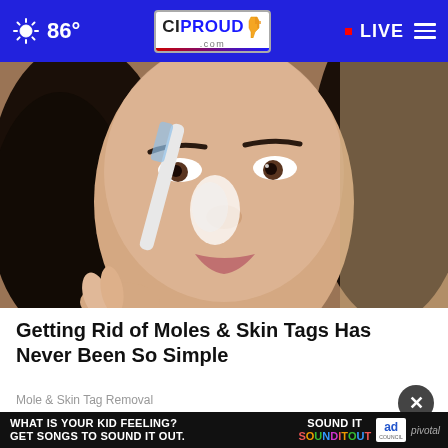86° CIProud.com LIVE
[Figure (photo): Close-up photo of a woman with dark hair applying something white to her nose with a white toothbrush-like tool. The woman is looking forward, appearing to treat her skin.]
Getting Rid of Moles & Skin Tags Has Never Been So Simple
Mole & Skin Tag Removal
[Figure (photo): Ad banner: 'WHAT IS YOUR KID FEELING? GET SONGS TO SOUND IT OUT.' with Sound It Out and Ad Council / Pivotal branding]